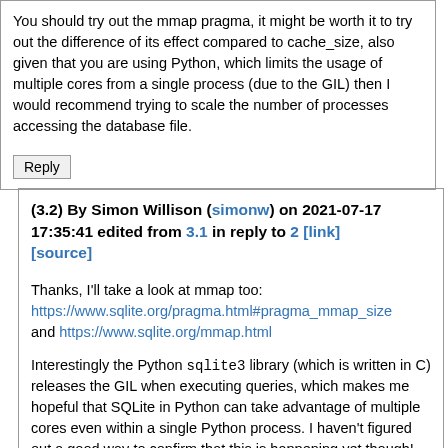You should try out the mmap pragma, it might be worth it to try out the difference of its effect compared to cache_size, also given that you are using Python, which limits the usage of multiple cores from a single process (due to the GIL) then I would recommend trying to scale the number of processes accessing the database file.
Reply
(3.2) By Simon Willison (simonw) on 2021-07-17 17:35:41 edited from 3.1 in reply to 2 [link] [source]
Thanks, I'll take a look at mmap too: https://www.sqlite.org/pragma.html#pragma_mmap_size and https://www.sqlite.org/mmap.html
Interestingly the Python sqlite3 library (which is written in C) releases the GIL when executing queries, which makes me hopeful that SQLite in Python can take advantage of multiple cores even within a single Python process. I haven't figured out a good way to confirm that this is happening yet though!